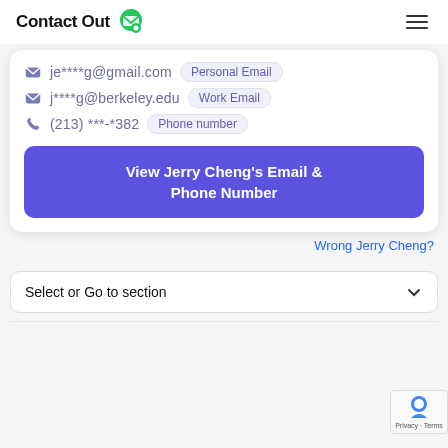ContactOut
je****g@gmail.com  Personal Email
j****g@berkeley.edu  Work Email
(213) ***-*382  Phone number
View Jerry Cheng's Email & Phone Number
Wrong Jerry Cheng?
Select or Go to section